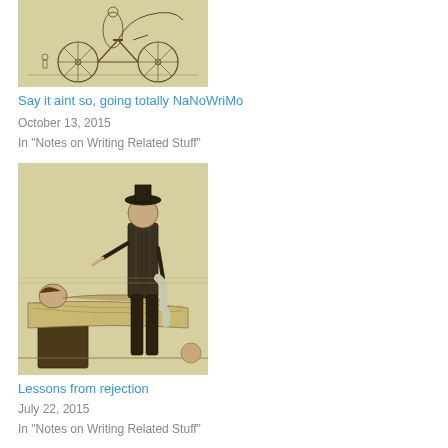[Figure (illustration): Vintage line drawing illustration showing a person with a bicycle and mechanical equipment, on a yellowed background]
Say it aint so, going totally NaNoWriMo
October 13, 2015
In "Notes on Writing Related Stuff"
[Figure (illustration): Vintage engraving illustration showing a person lying in bed with a standing figure beside them, on a yellowed background]
Lessons from rejection
July 22, 2015
In "Notes on Writing Related Stuff"